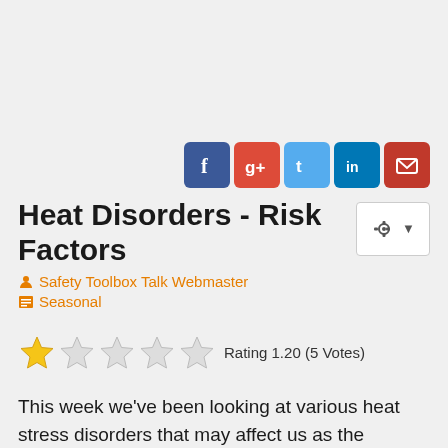[Figure (other): Social sharing icons: Facebook, Google+, Twitter, LinkedIn, Email]
Heat Disorders - Risk Factors
[Figure (other): Gear/settings button with dropdown arrow]
Safety Toolbox Talk Webmaster
Seasonal
[Figure (other): Star rating: 1 filled star out of 5. Rating 1.20 (5 Votes)]
This week we've been looking at various heat stress disorders that may affect us as the summer heat increases the temperature and